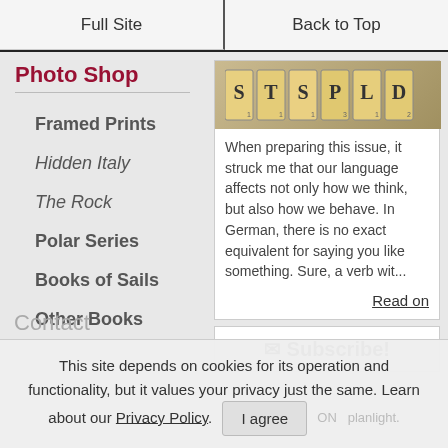Full Site | Back to Top
Photo Shop
Framed Prints
Hidden Italy
The Rock
Polar Series
Books of Sails
Other Books
[Figure (photo): Scrabble tiles spelling letters on a light surface]
When preparing this issue, it struck me that our language affects not only how we think, but also how we behave. In German, there is no exact equivalent for saying you like something. Sure, a verb wit...
Read on
✉ Subscribe!
Contact
This site depends on cookies for its operation and functionality, but it values your privacy just the same. Learn about our Privacy Policy.
I agree